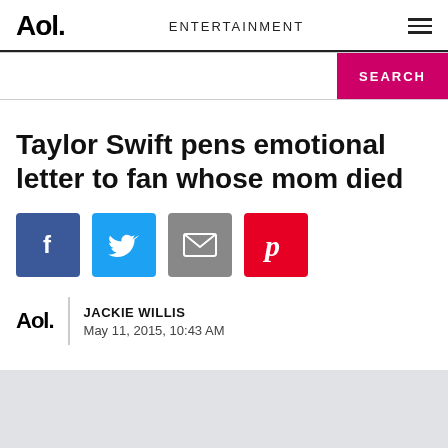Aol. | ENTERTAINMENT
[Figure (screenshot): Search bar with pink SEARCH button]
Taylor Swift pens emotional letter to fan whose mom died
[Figure (infographic): Social share buttons: Facebook, Twitter, Email, Pinterest]
JACKIE WILLIS
May 11, 2015, 10:43 AM